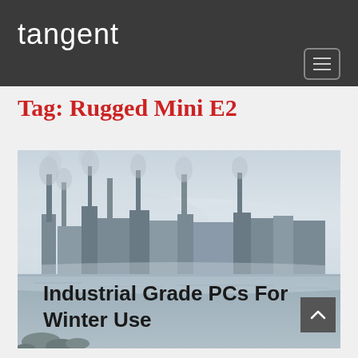tangent
Tag: Rugged Mini E2
[Figure (photo): Industrial facility with smoke stacks and mist over water in winter conditions, bluish-grey tones]
Industrial Grade PCs For Winter Use